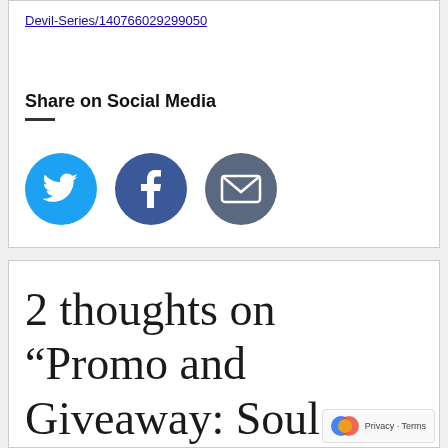Devil-Series/140766029299050
Share on Social Media
[Figure (other): Three social media icon circles: Twitter (blue bird), Facebook (blue f), Email (dark envelope)]
2 thoughts on “Promo and Giveaway: Soul Catcher by Vivi Dumas”